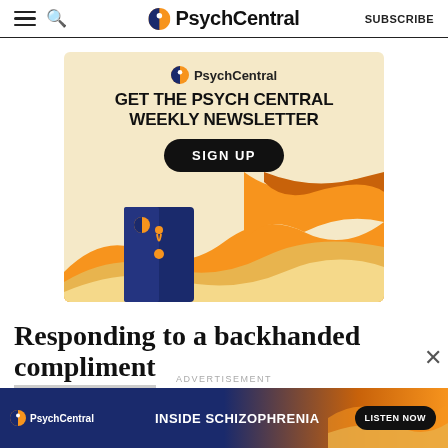PsychCentral — SUBSCRIBE
[Figure (illustration): PsychCentral newsletter advertisement banner with headline 'GET THE PSYCH CENTRAL WEEKLY NEWSLETTER', SIGN UP button, and decorative wavy illustration with a door motif in orange, yellow, navy blue colors]
Responding to a backhanded compliment
[Figure (illustration): PsychCentral bottom ad banner: 'INSIDE SCHIZOPHRENIA' with LISTEN NOW button on dark blue/orange gradient background]